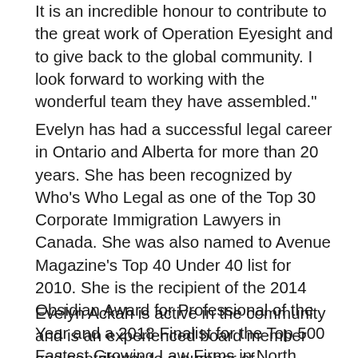It is an incredible honour to contribute to the great work of Operation Eyesight and to give back to the global community. I look forward to working with the wonderful team they have assembled."
Evelyn has had a successful legal career in Ontario and Alberta for more than 20 years. She has been recognized by Who's Who Legal as one of the Top 30 Corporate Immigration Lawyers in Canada. She was also named to Avenue Magazine's Top 40 Under 40 list for 2010. She is the recipient of the 2014 Obsidian Award for Professional of the Year and a 2018 Finalist for the Top 500 Fastest Growing Law Firms in North America.
Evelyn Ackah is active in the community and is an experienced board member and contributor to a number of organizations including the International